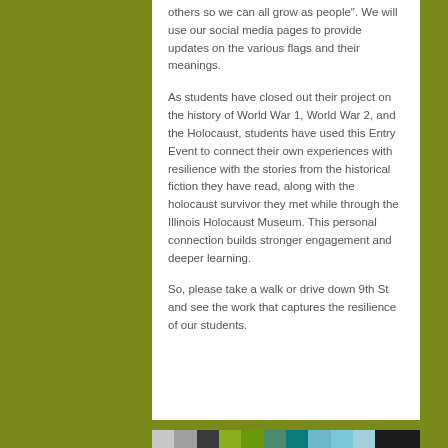others so we can all grow as people". We will use our social media pages to provide updates on the various flags and their meanings.
As students have closed out their project on the history of World War 1, World War 2, and the Holocaust, students have used this Entry Event to connect their own experiences with resilience with the stories from the historical fiction they have read, along with the holocaust survivor they met while through the Illinois Holocaust Museum. This personal connection builds stronger engagement and deeper learning.
So, please take a walk or drive down 9th St and see the work that captures the resilience of our students.
[Figure (infographic): A horizontal color bar strip at the bottom of the page showing multiple color segments: light gray, medium gray, dark/black, yellow-green, green, teal-green, dark teal, light blue, lighter blue, pale blue, and black.]